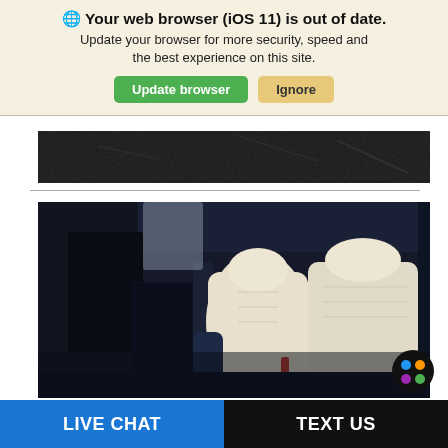🌐 Your web browser (iOS 11) is out of date. Update your browser for more security, speed and the best experience on this site.
Update browser
Ignore
[Figure (photo): Dark cracked asphalt texture photo, partially visible at top of page]
[Figure (photo): Car interior showing luxury cream/beige leather seats with navy blue accents and a large touchscreen display]
LIVE CHAT
TEXT US